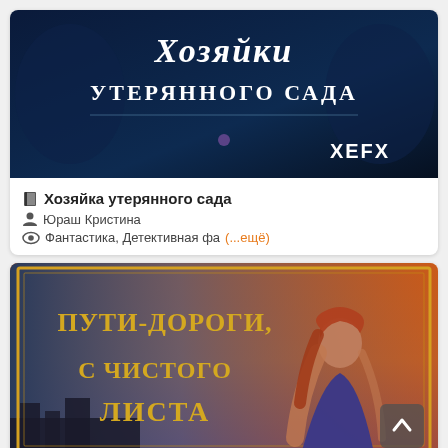[Figure (illustration): Book cover image with Russian title text 'Хозяйки утерянного сада' on dark blue background with decorative elements and 'XEFX' branding]
Хозяйка утерянного сада
Юраш Кристина
Фантастика, Детективная фа (...ещё)
[Figure (illustration): Book cover image with Russian title 'Пути-дороги. С чистого листа' in gold letters on a fantasy/dramatic background with a red-haired woman in blue dress]